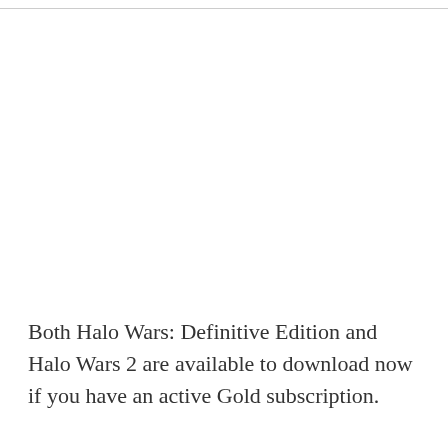Both Halo Wars: Definitive Edition and Halo Wars 2 are available to download now if you have an active Gold subscription.